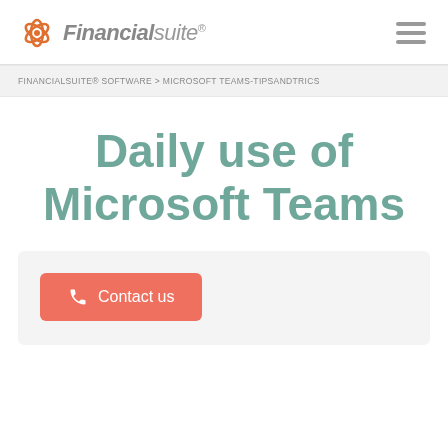Financial suite ®
FINANCIALSUITE® SOFTWARE > MICROSOFT TEAMS-TIPSANDTRICS
Daily use of Microsoft Teams
Contact us